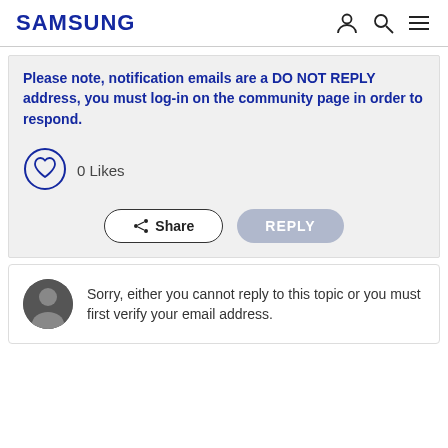SAMSUNG
Please note, notification emails are a DO NOT REPLY address, you must log-in on the community page in order to respond.
0 Likes
Share
REPLY
Sorry, either you cannot reply to this topic or you must first verify your email address.